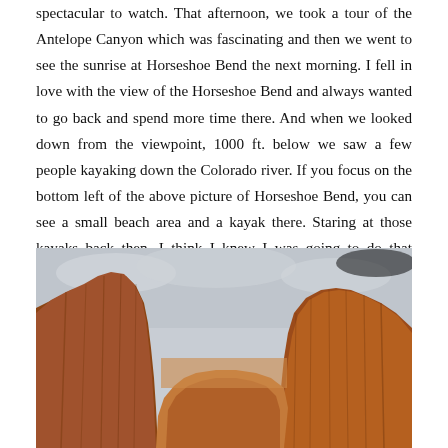spectacular to watch. That afternoon, we took a tour of the Antelope Canyon which was fascinating and then we went to see the sunrise at Horseshoe Bend the next morning. I fell in love with the view of the Horseshoe Bend and always wanted to go back and spend more time there. And when we looked down from the viewpoint, 1000 ft. below we saw a few people kayaking down the Colorado river. If you focus on the bottom left of the above picture of Horseshoe Bend, you can see a small beach area and a kayak there. Staring at those kayaks back then, I think I knew I was going to do that someday, but did not know for sure that we would do it in our own kayak on a self-guided trip 9 years later.
[Figure (photo): A canyon landscape featuring tall red/orange sandstone cliffs with vertical striations rising steeply on both sides, with a cloudy grey sky above.]